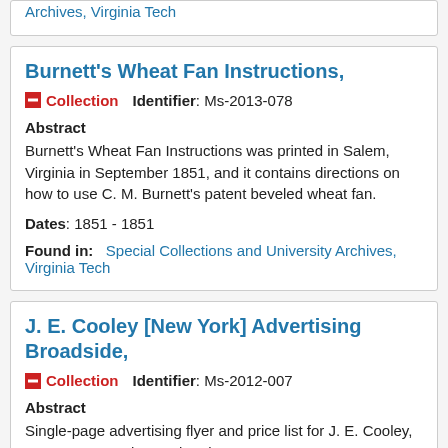Found in: Special Collections and University Archives, Virginia Tech
Burnett's Wheat Fan Instructions,
Collection   Identifier: Ms-2013-078
Abstract
Burnett's Wheat Fan Instructions was printed in Salem, Virginia in September 1851, and it contains directions on how to use C. M. Burnett's patent beveled wheat fan.
Dates: 1851 - 1851
Found in: Special Collections and University Archives, Virginia Tech
J. E. Cooley [New York] Advertising Broadside,
Collection   Identifier: Ms-2012-007
Abstract
Single-page advertising flyer and price list for J. E. Cooley, grocer, New York, NY, dated 1863.